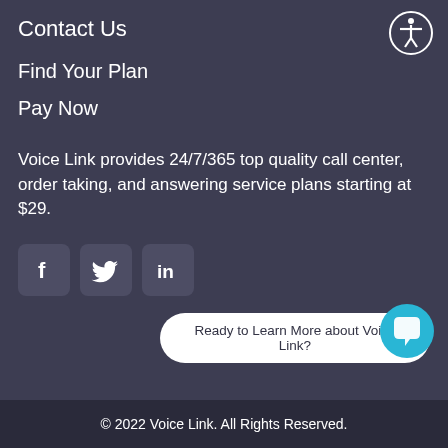Contact Us
[Figure (illustration): Accessibility icon - person with outstretched arms in a circle]
Find Your Plan
Pay Now
Voice Link provides 24/7/365 top quality call center, order taking, and answering service plans starting at $29.
[Figure (logo): Social media icons: Facebook, Twitter, LinkedIn]
Ready to Learn More about Voice Link?
[Figure (illustration): Chat bubble icon button]
© 2022 Voice Link. All Rights Reserved.